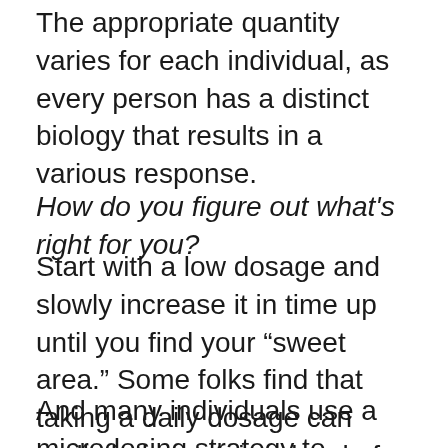The appropriate quantity varies for each individual, as every person has a distinct biology that results in a various response.
How do you figure out what's right for you?
Start with a low dosage and slowly increase it in time up until you find your “sweet area.” Some folks find that taking a daily dosage can really help sustain a level of CBD in your body, which might promote your endocannabinoid system (more on what this is, listed below) to make it react more to cannabinoids like CBD.
And many individuals use a microdosing strategy to discover their personal dosage